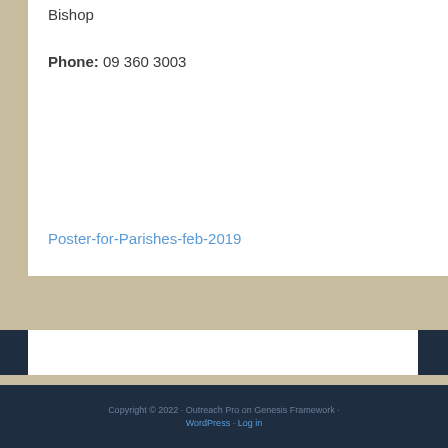Bishop
Phone: 09 360 3003
Poster-for-Parishes-feb-2019
Copyright © 2022 · Outreach Pro on Genesis Framework · WordPress · Log in